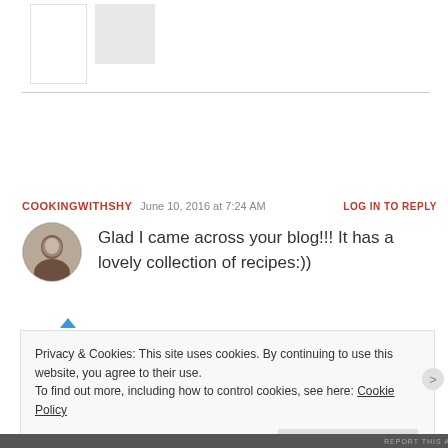[Figure (illustration): Partial white and grey box shapes at the top of the page, cropped content from a blog comment section above]
COOKINGWITHSHY   June 10, 2016 at 7:24 AM   LOG IN TO REPLY
Glad I came across your blog!!! It has a lovely collection of recipes:))
Privacy & Cookies: This site uses cookies. By continuing to use this website, you agree to their use.
To find out more, including how to control cookies, see here: Cookie Policy
Close and accept